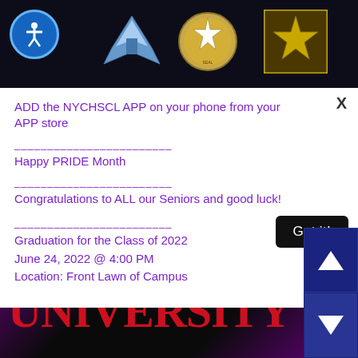[Figure (illustration): Dark top banner with military/government logos: Air Force wings, Great Seal of the US, Army star emblem, and a blue accessibility icon circle in the top-left corner]
ADD the NYCHSCL APP on your phone from your APP store
Happy PRIDE Month
Congratulations to ALL our Seniors and good luck!
Graduation for the Class of 2022
June 24, 2022 @ 4:00 PM
Location: Front Lawn of Campus
[Figure (logo): St. John's University logo in large bold red serif text on dark background with purple/magenta gradient sides]
[Figure (illustration): Navigation arrows: up arrow and down arrow in dark blue square buttons on right side]